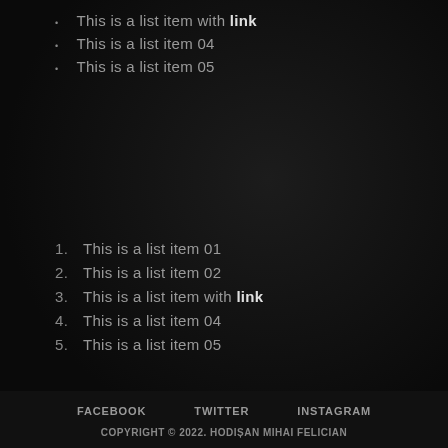This is a list item with link
This is a list item 04
This is a list item 05
1. This is a list item 01
2. This is a list item 02
3. This is a list item with link
4. This is a list item 04
5. This is a list item 05
FACEBOOK   TWITTER   INSTAGRAM
COPYRIGHT © 2022. HODIȘAN MIHAI FELICIAN